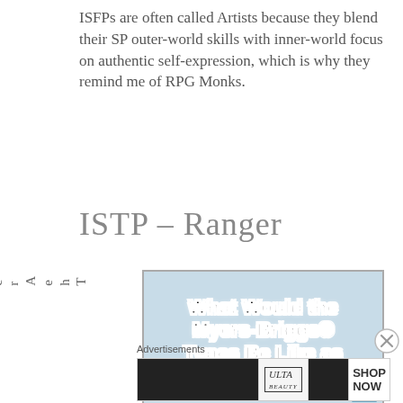ISFPs are often called Artists because they blend their SP outer-world skills with inner-world focus on authentic self-expression, which is why they remind me of RPG Monks.
ISTP – Ranger
T h e A r c h e
[Figure (other): Advertisement image with text 'What Would the Myers-Briggs® Types Be Like as RPG Classes?' on a light blue background]
Advertisements
[Figure (other): Ulta Beauty advertisement banner showing makeup/cosmetics images with SHOP NOW text]